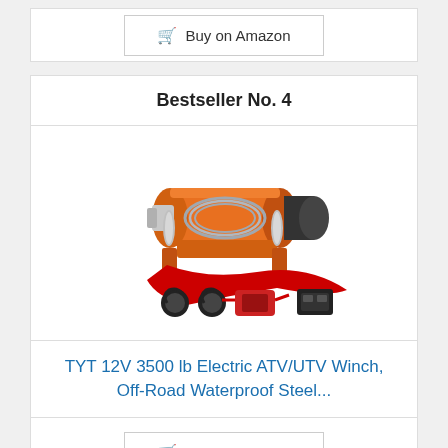Buy on Amazon
Bestseller No. 4
[Figure (photo): TYT 12V 3500 lb Electric ATV/UTV Winch product photo showing orange winch with steel cable, mounting hardware, red strap, and accessories]
TYT 12V 3500 lb Electric ATV/UTV Winch, Off-Road Waterproof Steel...
Buy on Amazon